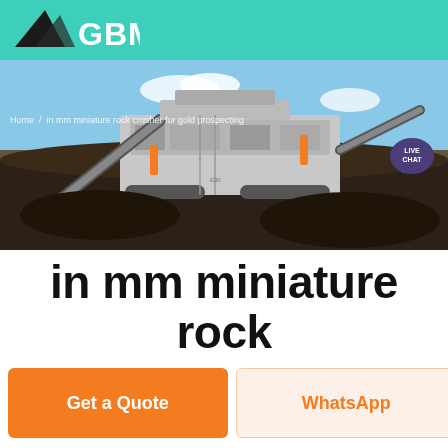GBM
[Figure (photo): Large industrial mobile rock crusher/screening machine on a job site with conveyor belts, set against a blue sky, parked on dark crushed rock/coal material]
Home / in mm miniature rock crusher for gold prospecting
in mm miniature rock crusher for gold prospecting
Get a Quote
WhatsApp